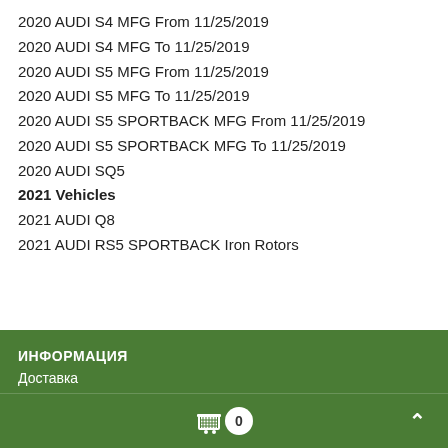2020 AUDI S4 MFG From 11/25/2019
2020 AUDI S4 MFG To 11/25/2019
2020 AUDI S5 MFG From 11/25/2019
2020 AUDI S5 MFG To 11/25/2019
2020 AUDI S5 SPORTBACK MFG From 11/25/2019
2020 AUDI S5 SPORTBACK MFG To 11/25/2019
2020 AUDI SQ5
2021 Vehicles
2021 AUDI Q8
2021 AUDI RS5 SPORTBACK Iron Rotors
ИНФОРМАЦИЯ
Доставка